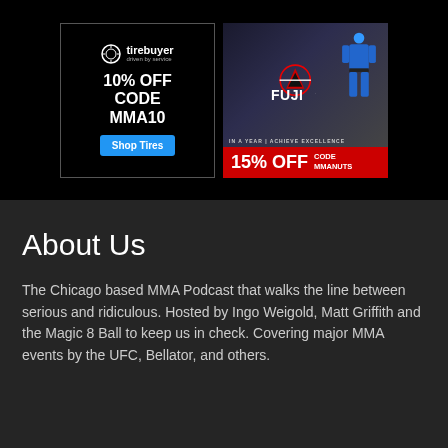[Figure (infographic): Tirebuyer advertisement banner: 10% OFF CODE MMA10 with Shop Tires button]
[Figure (infographic): FUJI martial arts gear advertisement: 15% OFF CODE MMANUTS with figure in blue gi]
About Us
The Chicago based MMA Podcast that walks the line between serious and ridiculous. Hosted by Ingo Weigold, Matt Griffith and the Magic 8 Ball to keep us in check. Covering major MMA events by the UFC, Bellator, and others.